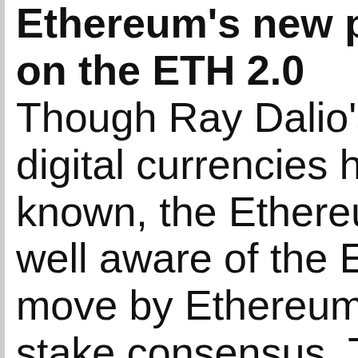Ethereum's new p... on the ETH 2.0
Though Ray Dalio's digital currencies ha... known, the Ethereu... well aware of the Et... move by Ethereum ... stake consensus. T... much bullish signal...